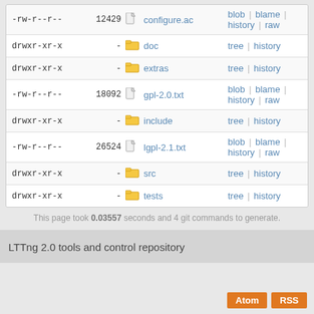| permissions | size | icon | name | actions |
| --- | --- | --- | --- | --- |
| -rw-r--r-- | 12429 | file | configure.ac | blob | blame | history | raw |
| drwxr-xr-x | - | folder | doc | tree | history |
| drwxr-xr-x | - | folder | extras | tree | history |
| -rw-r--r-- | 18092 | file | gpl-2.0.txt | blob | blame | history | raw |
| drwxr-xr-x | - | folder | include | tree | history |
| -rw-r--r-- | 26524 | file | lgpl-2.1.txt | blob | blame | history | raw |
| drwxr-xr-x | - | folder | src | tree | history |
| drwxr-xr-x | - | folder | tests | tree | history |
This page took 0.03557 seconds and 4 git commands to generate.
LTTng 2.0 tools and control repository
Atom   RSS